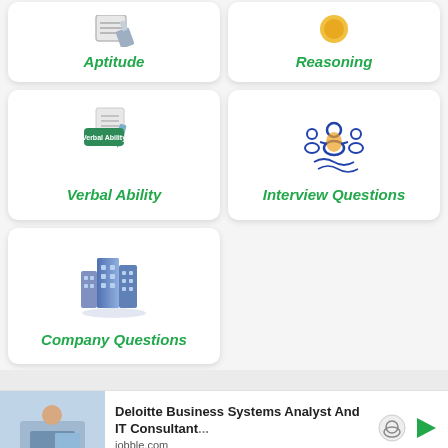[Figure (illustration): Aptitude icon (pencil/paper) with green label text 'Aptitude']
[Figure (illustration): Reasoning icon (golden gear/circle) with green label text 'Reasoning']
[Figure (illustration): Verbal Ability icon (document with green badge) with green label 'Verbal Ability']
[Figure (illustration): Interview Questions icon (people/team symbol) with green label 'Interview Questions']
[Figure (illustration): Company Questions icon (blue buildings) with green label 'Company Questions']
Deloitte Business Systems Analyst And IT Consultant...
jobble.com